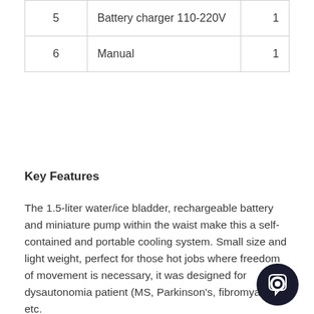| # | Item | Qty |
| --- | --- | --- |
| 5 | Battery charger 110-220V | 1 |
| 6 | Manual | 1 |
Key Features
The 1.5-liter water/ice bladder, rechargeable battery and miniature pump within the waist make this a self-contained and portable cooling system. Small size and light weight, perfect for those hot jobs where freedom of movement is necessary, it was designed for dysautonomia patient (MS, Parkinson's, fibromyalgia etc.